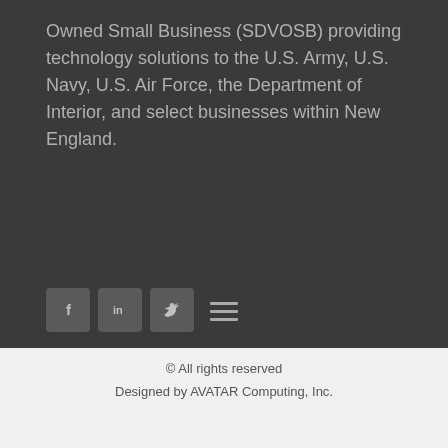Owned Small Business (SDVOSB) providing technology solutions to the U.S. Army, U.S. Navy, U.S. Air Force, the Department of Interior, and select businesses within New England.
[Figure (other): Three social media icon buttons: Facebook (f), LinkedIn (in), Twitter (bird icon), displayed as rounded square buttons in dark gray]
[Figure (other): Hamburger menu toggle icon with three horizontal lines, centered on the dark section]
© All rights reserved
Designed by AVATAR Computing, Inc.